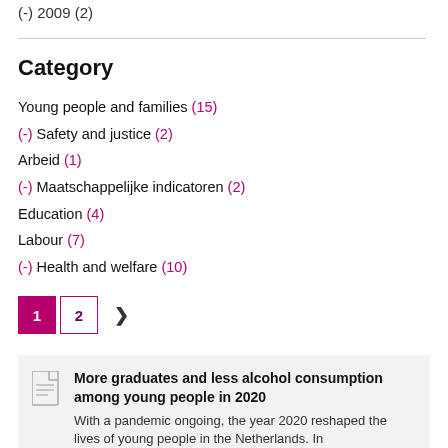(-) 2009 (2)
Category
Young people and families (15)
(-) Safety and justice (2)
Arbeid (1)
(-) Maatschappelijke indicatoren (2)
Education (4)
Labour (7)
(-) Health and welfare (10)
Pagination: 1 2 >
More graduates and less alcohol consumption among young people in 2020
With a pandemic ongoing, the year 2020 reshaped the lives of young people in the Netherlands. In